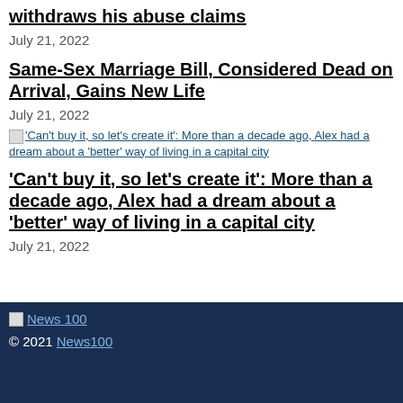withdraws his abuse claims
July 21, 2022
Same-Sex Marriage Bill, Considered Dead on Arrival, Gains New Life
July 21, 2022
'Can't buy it, so let's create it': More than a decade ago, Alex had a dream about a 'better' way of living in a capital city
'Can't buy it, so let's create it': More than a decade ago, Alex had a dream about a 'better' way of living in a capital city
July 21, 2022
News 100
© 2021 News100